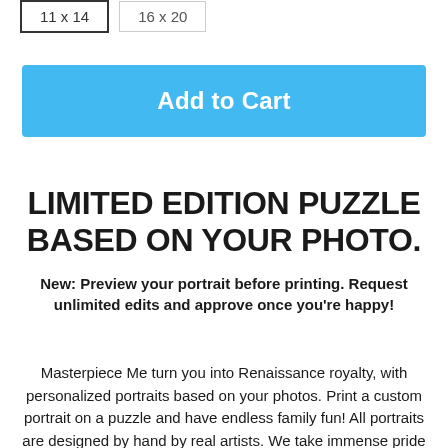11 x 14
16 x 20
Add to Cart
LIMITED EDITION PUZZLE BASED ON YOUR PHOTO.
New: Preview your portrait before printing. Request unlimited edits and approve once you're happy!
Masterpiece Me turn you into Renaissance royalty, with personalized portraits based on your photos. Print a custom portrait on a puzzle and have endless family fun! All portraits are designed by hand by real artists. We take immense pride in the quality of our artwork, ensuring you're 100% satisfied with your portrait. Our puzzles are the perfect gift and provide a personal